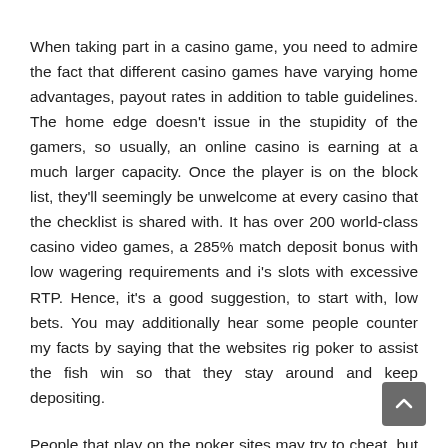When taking part in a casino game, you need to admire the fact that different casino games have varying home advantages, payout rates in addition to table guidelines. The home edge doesn't issue in the stupidity of the gamers, so usually, an online casino is earning at a much larger capacity. Once the player is on the block list, they'll seemingly be unwelcome at every casino that the checklist is shared with. It has over 200 world-class casino video games, a 285% match deposit bonus with low wagering requirements and i's slots with excessive RTP. Hence, it's a good suggestion, to start with, low bets. You may additionally hear some people counter my facts by saying that the websites rig poker to assist the fish win so that they stay around and keep depositing.
People that play on the poker sites may try to cheat, but the sites themselves are 100% legit and don't have any